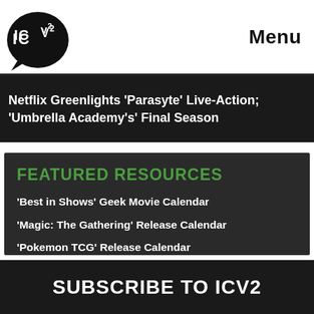ICV2 | Menu
Netflix Greenlights 'Parasyte' Live-Action; 'Umbrella Academy's' Final Season
FEATURED RESOURCES
'Best in Shows' Geek Movie Calendar
'Magic: The Gathering' Release Calendar
'Pokemon TCG' Release Calendar
'Yu-Gi-Oh! TCG' Release Calendar
SUBSCRIBE TO ICV2